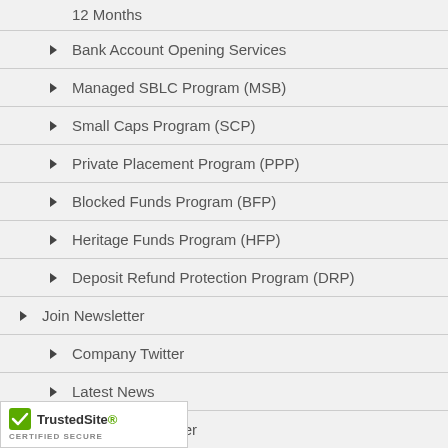12 Months
Bank Account Opening Services
Managed SBLC Program (MSB)
Small Caps Program (SCP)
Private Placement Program (PPP)
Blocked Funds Program (BFP)
Heritage Funds Program (HFP)
Deposit Refund Protection Program (DRP)
Join Newsletter
Company Twitter
Latest News
Current Newsletter
Newsletter